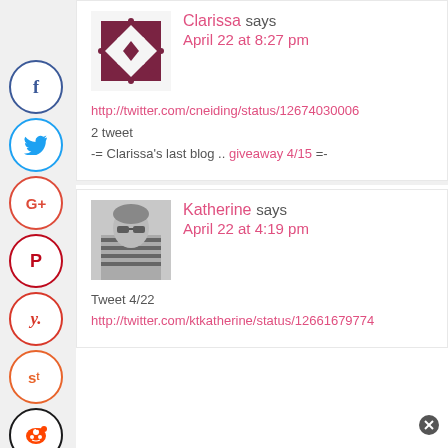[Figure (illustration): Social sharing sidebar buttons: Facebook, Twitter, Google+, Pinterest, Yummly, StumbleUpon, Reddit]
Clarissa says
April 22 at 8:27 pm
http://twitter.com/cneiding/status/12674030062 tweet
 -= Clarissa's last blog .. giveaway 4/15 =-
Katherine says
April 22 at 4:19 pm
Tweet 4/22
http://twitter.com/ktkatherine/status/12661679774